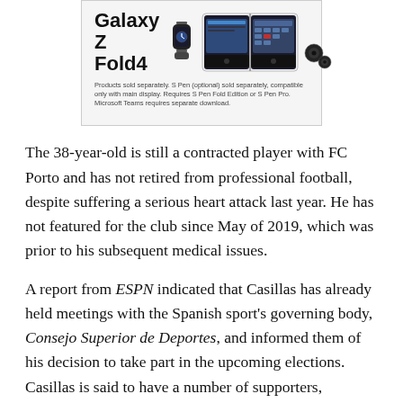[Figure (screenshot): Samsung Galaxy Z Fold4 advertisement showing the product name in bold, device images (smartwatch, foldable phone, earbuds), and disclaimer text: 'Products sold separately. S Pen (optional) sold separately, compatible only with main display. Requires S Pen Fold Edition or S Pen Pro. Microsoft Teams requires separate download.']
The 38-year-old is still a contracted player with FC Porto and has not retired from professional football, despite suffering a serious heart attack last year. He has not featured for the club since May of 2019, which was prior to his subsequent medical issues.
A report from ESPN indicated that Casillas has already held meetings with the Spanish sport's governing body, Consejo Superior de Deportes, and informed them of his decision to take part in the upcoming elections. Casillas is said to have a number of supporters, including La Liga president Javier Tebas. The current FC Porto man is seen in a much more favorable light